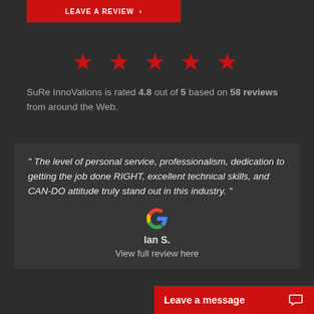[Figure (other): Red button with white text 'LEAVE A REVIEW' and arrow at top]
[Figure (other): Five red star rating icons in a row]
SuRe InnoVations is rated 4.8 out of 5 based on 58 reviews from around the Web.
" The level of personal service, professionalism, dedication to getting the job done RIGHT, excellent technical skills, and CAN-DO attitude truly stand out in this industry. "
[Figure (logo): Google G multicolor logo]
Ian S.
View full review here
[Figure (other): Red 'Leave a message' chat button at bottom right with chat icon]